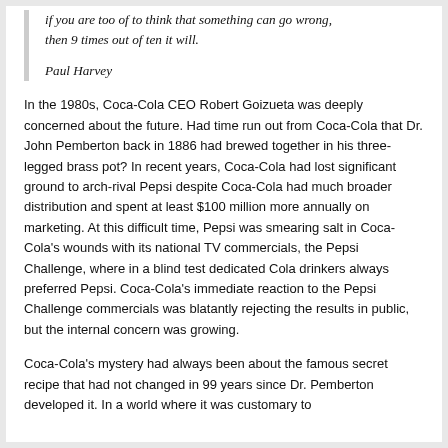if you are too of to think that something can go wrong, then 9 times out of ten it will.
Paul Harvey
In the 1980s, Coca-Cola CEO Robert Goizueta was deeply concerned about the future. Had time run out from Coca-Cola that Dr. John Pemberton back in 1886 had brewed together in his three-legged brass pot? In recent years, Coca-Cola had lost significant ground to arch-rival Pepsi despite Coca-Cola had much broader distribution and spent at least $100 million more annually on marketing. At this difficult time, Pepsi was smearing salt in Coca-Cola's wounds with its national TV commercials, the Pepsi Challenge, where in a blind test dedicated Cola drinkers always preferred Pepsi. Coca-Cola's immediate reaction to the Pepsi Challenge commercials was blatantly rejecting the results in public, but the internal concern was growing.
Coca-Cola's mystery had always been about the famous secret recipe that had not changed in 99 years since Dr. Pemberton developed it. In a world where it was customary to change products and constantly re-examine it...